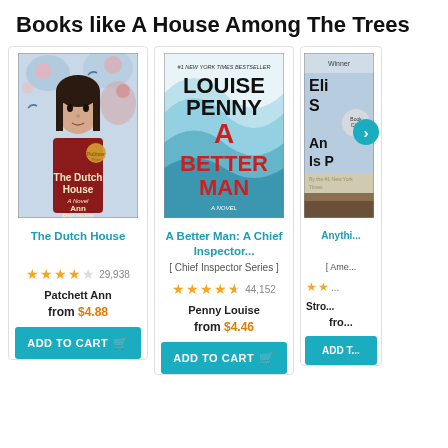Books like A House Among The Trees
[Figure (photo): Book cover: The Dutch House by Ann Patchett]
The Dutch House
29,938 ratings, 4.5 stars
Patchett Ann
from $4.88
[Figure (photo): Book cover: A Better Man by Louise Penny]
A Better Man: A Chief Inspector...
[ Chief Inspector Series ]
44,152 ratings, 4.5 stars
Penny Louise
from $4.46
[Figure (photo): Partial book cover (cropped, third book)]
Anything Is Possible (partial title)
Stro... (partial author)
from... (partial price)